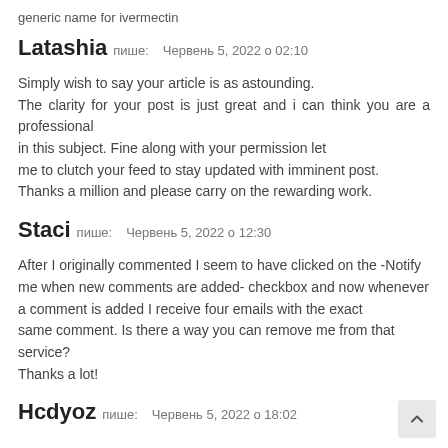generic name for ivermectin
Latashia пише:   Червень 5, 2022 о 02:10
Simply wish to say your article is as astounding. The clarity for your post is just great and i can think you are a professional in this subject. Fine along with your permission let me to clutch your feed to stay updated with imminent post. Thanks a million and please carry on the rewarding work.
Staci пише:   Червень 5, 2022 о 12:30
After I originally commented I seem to have clicked on the -Notify me when new comments are added- checkbox and now whenever a comment is added I receive four emails with the exact same comment. Is there a way you can remove me from that service?
Thanks a lot!
Hcdyoz пише:   Червень 5, 2022 о 18:02